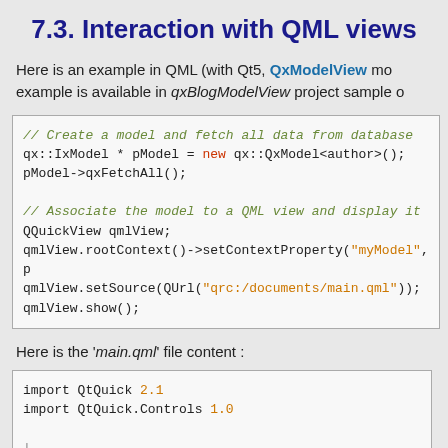7.3. Interaction with QML views
Here is an example in QML (with Qt5, QxModelView mo... example is available in qxBlogModelView project sample o...
[Figure (screenshot): Code block showing C++ QML model creation: // Create a model and fetch all data from database, qx::IxModel * pModel = new qx::QxModel<author>(); pModel->qxFetchAll(); // Associate the model to a QML view and display it, QQuickView qmlView; qmlView.rootContext()->setContextProperty("myModel", p..., qmlView.setSource(QUrl("qrc:/documents/main.qml")); qmlView.show();]
Here is the 'main.qml' file content :
[Figure (screenshot): Code block showing QML import statements: import QtQuick 2.1, import QtQuick.Controls 1.0]